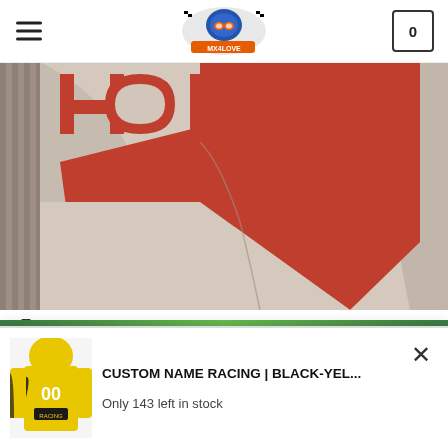MX4LOVE — navigation header with logo, hamburger menu, and cart icon showing 0
[Figure (photo): Close-up photo of a white and red Honda motocross jersey/shirt laid flat, showing the HONDA text in large red letters and red fabric panels]
💬 Sabrina Robineau
★★★★★ (5 stars)
génial!!!!!!!!!
[Figure (photo): Popup banner showing a yellow and black custom name racing hoodie (number 00), with product title 'CUSTOM NAME RACING | BLACK-YEL...' and stock info 'Only 143 left in stock']
CUSTOM NAME RACING | BLACK-YEL...
Only 143 left in stock